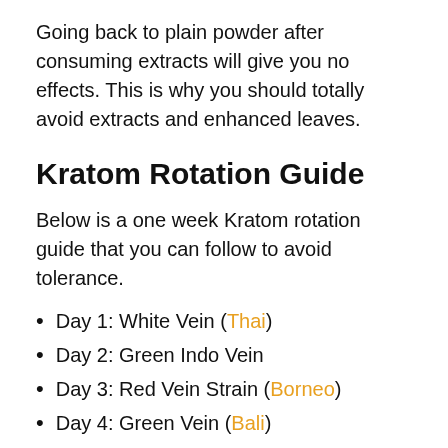Going back to plain powder after consuming extracts will give you no effects. This is why you should totally avoid extracts and enhanced leaves.
Kratom Rotation Guide
Below is a one week Kratom rotation guide that you can follow to avoid tolerance.
Day 1: White Vein (Thai)
Day 2: Green Indo Vein
Day 3: Red Vein Strain (Borneo)
Day 4: Green Vein (Bali)
Day 5: White Vein (Malay)